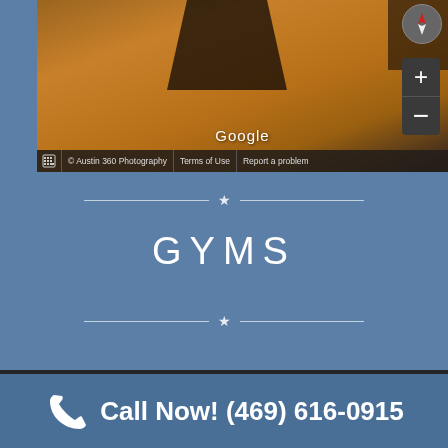[Figure (screenshot): Google Street View interior photo of a gym or similar space showing wooden floor, with zoom controls, compass, Google branding, and toolbar with Austin 360 Photography credit, Terms of Use, and Report a problem links.]
[Figure (other): Decorative star-and-line divider on blue background]
GYMS
[Figure (other): Decorative star-and-line divider on blue background]
Call Now! (469) 616-0915